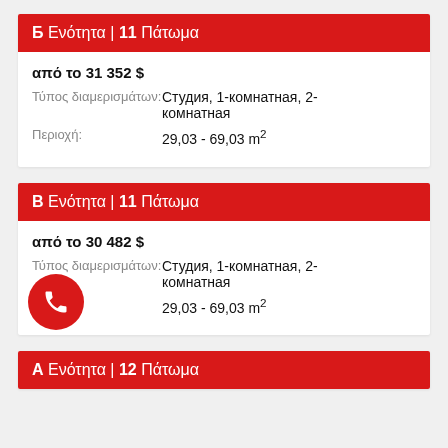Б Ενότητα | 11 Πάτωμα
από το 31 352 $
Τύπος διαμερισμάτων: Студия, 1-комнатная, 2-комнатная
Περιοχή: 29,03 - 69,03 m²
B Ενότητα | 11 Πάτωμα
από το 30 482 $
Τύπος διαμερισμάτων: Студия, 1-комнатная, 2-комнатная
Περιοχή: 29,03 - 69,03 m²
A Ενότητα | 12 Πάτωμα